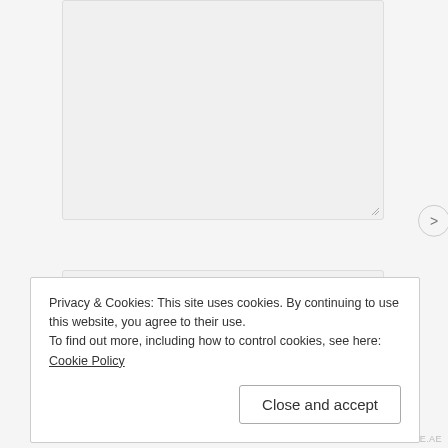[Figure (screenshot): A web form with a textarea (partially visible at top), followed by NAME, EMAIL, and WEBSITE input fields on a light gray background.]
Privacy & Cookies: This site uses cookies. By continuing to use this website, you agree to their use.
To find out more, including how to control cookies, see here: Cookie Policy
Close and accept
AIRPORT-TIME.AE